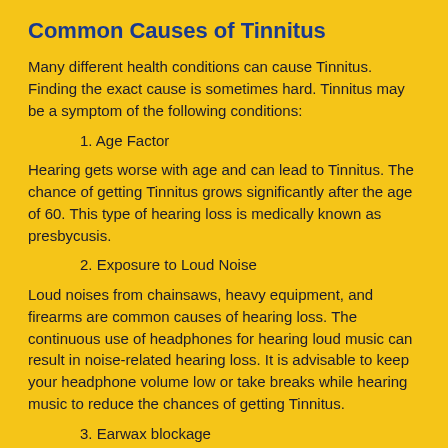Common Causes of Tinnitus
Many different health conditions can cause Tinnitus. Finding the exact cause is sometimes hard. Tinnitus may be a symptom of the following conditions:
1. Age Factor
Hearing gets worse with age and can lead to Tinnitus. The chance of getting Tinnitus grows significantly after the age of 60. This type of hearing loss is medically known as presbycusis.
2. Exposure to Loud Noise
Loud noises from chainsaws, heavy equipment, and firearms are common causes of hearing loss. The continuous use of headphones for hearing loud music can result in noise-related hearing loss. It is advisable to keep your headphone volume low or take breaks while hearing music to reduce the chances of getting Tinnitus.
3. Earwax blockage
Earwax helps trap dirt and slows down the growth of bacteria in